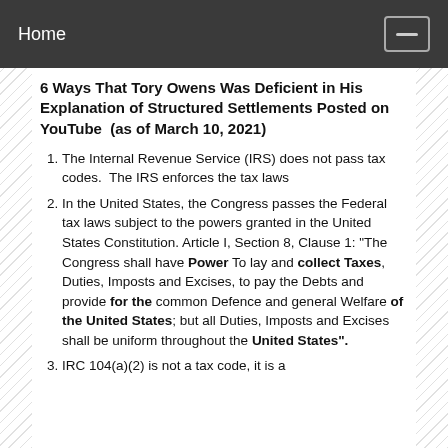Home
6 Ways That Tory Owens Was Deficient in His Explanation of Structured Settlements Posted on YouTube  (as of March 10, 2021)
The Internal Revenue Service (IRS) does not pass tax codes.  The IRS enforces the tax laws
In the United States, the Congress passes the Federal tax laws subject to the powers granted in the United States Constitution. Article I, Section 8, Clause 1: "The Congress shall have Power To lay and collect Taxes, Duties, Imposts and Excises, to pay the Debts and provide for the common Defence and general Welfare of the United States; but all Duties, Imposts and Excises shall be uniform throughout the United States".
IRC 104(a)(2) is not a tax code, it is a